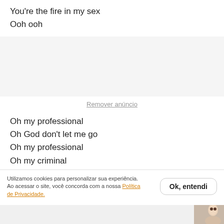You're the fire in my sex
Ooh ooh
[Figure (other): Advertisement placeholder block (gray background)]
Remover anúncio
Oh my professional
Oh God don't let me go
Oh my professional
Oh my criminal
Utilizamos cookies para personalizar sua experiência. Ao acessar o site, você concorda com a nossa Política de Privacidade.
Ok, entendi
when you language is over
One big hit I'll do it baby you're so cold but
Maybe when I get older
[Figure (photo): Partial photo of a person visible in bottom-right corner]